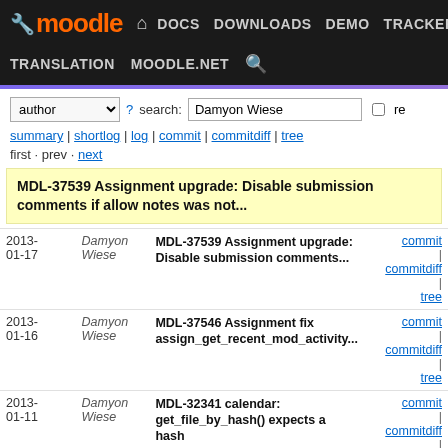Moodle DEV — DOCS DOWNLOADS DEMO TRACKER DEV | TRANSLATION MOODLE.NET
author ▾  ? search: Damyon Wiese  ☐ re
summary | shortlog | log | commit | commitdiff | tree
first · prev · next
MDL-37539 Assignment upgrade: Disable submission comments if allow notes was not...
| Date | Author | Message | Links |
| --- | --- | --- | --- |
| 2013-01-17 | Damyon Wiese | MDL-37539 Assignment upgrade: Disable submission comments... | commit | commitdiff | tree |
| 2013-01-16 | Damyon Wiese | MDL-37546 Assignment fix assign_get_recent_mod_activity... | commit | commitdiff | tree |
| 2013-01-11 | Damyon Wiese | MDL-32341 calendar: get_file_by_hash() expects a hash | commit | commitdiff | tree |
| 2013-01-07 | Damyon Wiese | MDL-37244 Assignment: Submission comments plugin does... | commit | commitdiff | tree |
| 2013-01-04 | Damyon Wiese | MDL-35413 Assignment: Add unit tests (lots of them). | commit | commitdiff | tree |
| 2013-01-04 | Damyon Wiese | MDL-36904 Assignment: Fix all errors and warnings from... | commit | commitdiff | tree |
| 2013-01-04 | Damyon Wiese | MDL-36712: Assignment - Do not always send feedback... | commit | commitdiff | tree |
| 2013-01-04 | Damyon Wiese | MDL-37000 Assignment: Fix... | commit | commitdiff | tree |